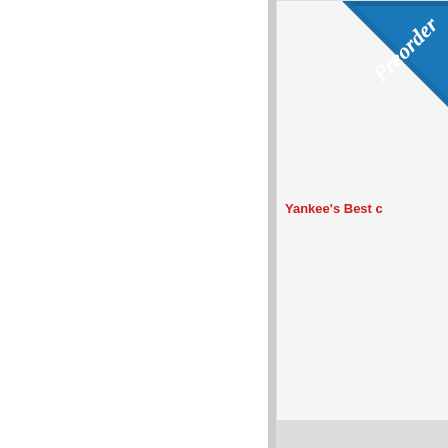[Figure (illustration): A blue diagonal ribbon/banner in the upper right corner of a product card, with white script text reading 'Preorder']
Yankee's Best c